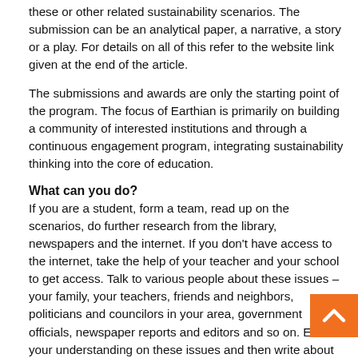these or other related sustainability scenarios. The submission can be an analytical paper, a narrative, a story or a play. For details on all of this refer to the website link given at the end of the article.
The submissions and awards are only the starting point of the program. The focus of Earthian is primarily on building a community of interested institutions and through a continuous engagement program, integrating sustainability thinking into the core of education.
What can you do?
If you are a student, form a team, read up on the scenarios, do further research from the library, newspapers and the internet. If you don't have access to the internet, take the help of your teacher and your school to get access. Talk to various people about these issues – your family, your teachers, friends and neighbors, politicians and councilors in your area, government officials, newspaper reports and editors and so on. Enrich your understanding on these issues and then write about it.
If you are a teacher, familiarize yourself with the program about it to your students. Motivate them to participate. Help them with their knowledge, resources and questions for further...